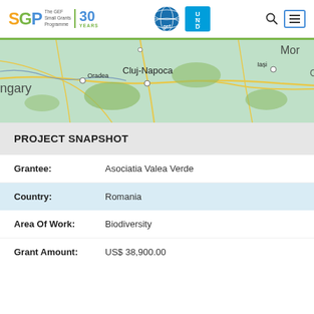SGP The GEF Small Grants Programme 30 YEARS | gef | UNDP
[Figure (map): Partial map showing Romania region with cities Cluj-Napoca, Oradea, Iasi visible, and labels for Hungary and Moldova borders]
PROJECT SNAPSHOT
| Field | Value |
| --- | --- |
| Grantee: | Asociatia Valea Verde |
| Country: | Romania |
| Area Of Work: | Biodiversity |
| Grant Amount: | US$ 38,900.00 |